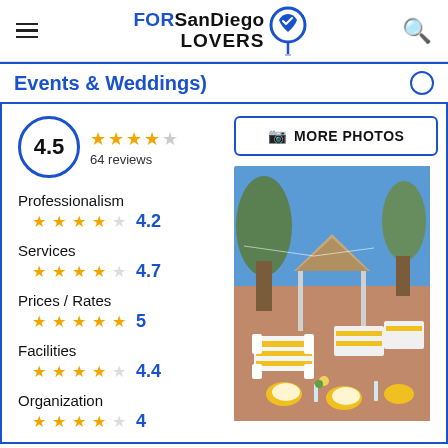FORSanDiego LOVERS
Events & Weddings)
4.5 — 64 reviews
Professionalism 4.2
Services 4.7
Prices / Rates 5
Facilities 4.4
Organization 4
[Figure (photo): Outdoor wedding venue with gazebo, white chairs, and yellow table settings under blue sky with trees]